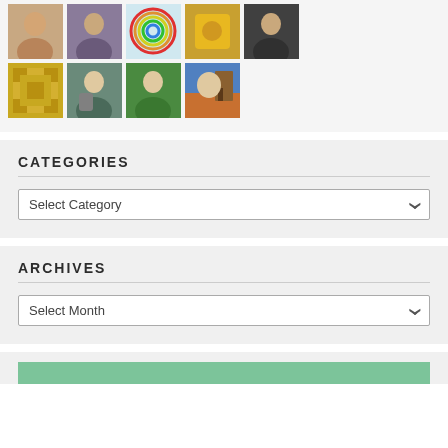[Figure (photo): Grid of profile photos/thumbnails - two rows showing 9 avatars including person photos, a decorative quilt pattern, and a landscape photo]
CATEGORIES
Select Category
ARCHIVES
Select Month
[Figure (photo): Green banner/image at bottom of page]